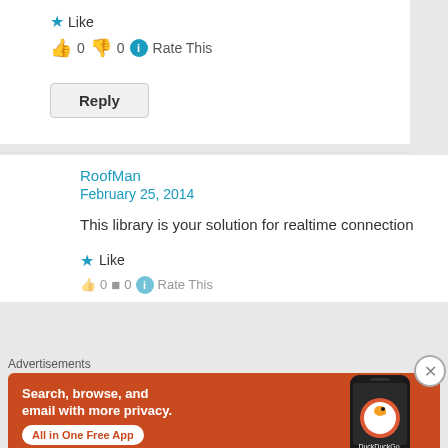★ Like
👍 0 👎 0 ℹ Rate This
Reply
RoofMan
February 25, 2014
This library is your solution for realtime connection
★ Like
[Figure (illustration): Ninja character avatar in black with green hat and red symbol]
Advertisements
[Figure (screenshot): DuckDuckGo advertisement banner: Search, browse, and email with more privacy. All in One Free App. Shows phone with DuckDuckGo logo.]